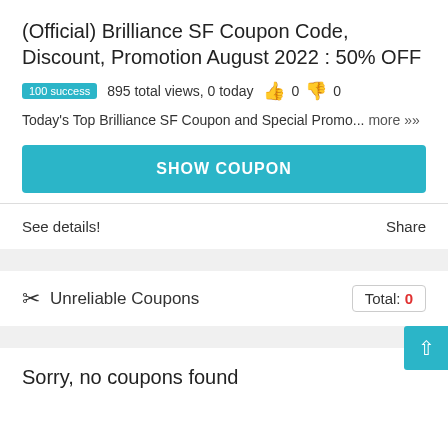(Official) Brilliance SF Coupon Code, Discount, Promotion August 2022 : 50% OFF
100 success  895 total views, 0 today  👍 0  👎 0
Today's Top Brilliance SF Coupon and Special Promo... more ››
SHOW COUPON
See details!
Share
✂ Unreliable Coupons   Total: 0
Sorry, no coupons found